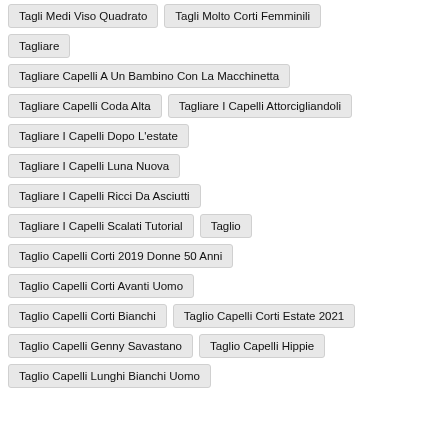Tagli Medi Viso Quadrato
Tagli Molto Corti Femminili
Tagliare
Tagliare Capelli A Un Bambino Con La Macchinetta
Tagliare Capelli Coda Alta
Tagliare I Capelli Attorcigliandoli
Tagliare I Capelli Dopo L'estate
Tagliare I Capelli Luna Nuova
Tagliare I Capelli Ricci Da Asciutti
Tagliare I Capelli Scalati Tutorial
Taglio
Taglio Capelli Corti 2019 Donne 50 Anni
Taglio Capelli Corti Avanti Uomo
Taglio Capelli Corti Bianchi
Taglio Capelli Corti Estate 2021
Taglio Capelli Genny Savastano
Taglio Capelli Hippie
Taglio Capelli Lunghi Bianchi Uomo